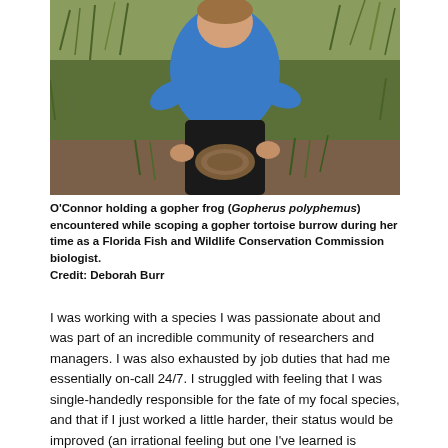[Figure (photo): Person in blue long-sleeve shirt kneeling in grassy/shrubby area, holding or examining a gopher tortoise near a burrow entrance.]
O'Connor holding a gopher frog (Gopherus polyphemus) encountered while scoping a gopher tortoise burrow during her time as a Florida Fish and Wildlife Conservation Commission biologist.
Credit: Deborah Burr
I was working with a species I was passionate about and was part of an incredible community of researchers and managers. I was also exhausted by job duties that had me essentially on-call 24/7. I struggled with feeling that I was single-handedly responsible for the fate of my focal species, and that if I just worked a little harder, their status would be improved (an irrational feeling but one I've learned is prevalent after talking about these experiences more openly with peers).